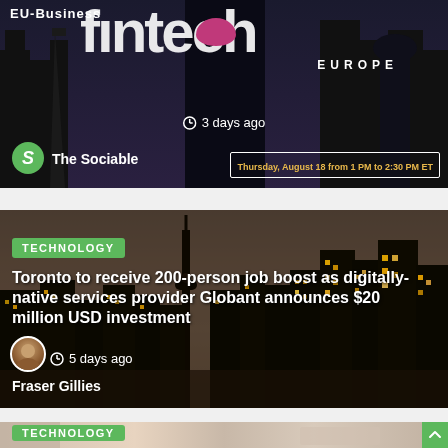[Figure (screenshot): News article card with dark background showing 'EU Business' and 'EUROPE' logo text with a purple circle accent, timestamp '3 days ago', and author 'The Sociable' with event banner 'Thursday, August 18 from 1 PM to 2:30 PM ET']
[Figure (screenshot): News article card with Toronto city skyline at dusk. Tagged 'TECHNOLOGY'. Title: 'Toronto to receive 200-person job boost as digitally-native services provider Globant announces $20 million USD investment'. Timestamp: '5 days ago'. Author: Fraser Gillies.]
[Figure (screenshot): Partial news article card showing 'TECHNOLOGY' tag and a desk/office background image with a scroll-to-top button in the bottom right corner.]